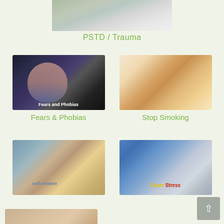[Figure (photo): Person with head down, PSTD/Trauma photo]
PSTD / Trauma
[Figure (photo): Woman with hand on chest looking anxious - Fears and Phobias]
Fears & Phobias
[Figure (photo): Hands breaking a cigarette - Stop Smoking]
Stop Smoking
[Figure (photo): Coffee cup and self-esteem word cloud on paper]
[Figure (photo): Person writing at desk with laptop - Exam Stress]
[Figure (photo): Partial image at bottom of page]